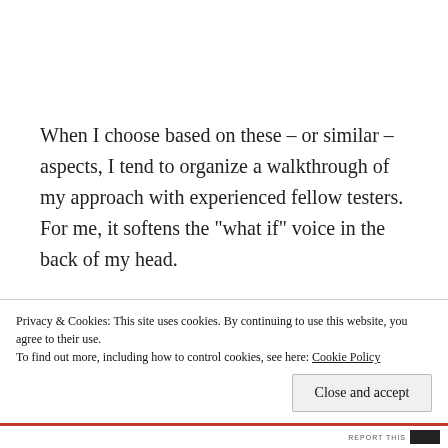When I choose based on these – or similar – aspects, I tend to organize a walkthrough of my approach with experienced fellow testers. For me, it softens the “what if” voice in the back of my head.
[Figure (illustration): A three-panel comic strip. Panel 1: text reads 'MAN, THE PROF SAYS I NEED TO COMPLETELY REWRITE MY FINAL PROJECT' with a partial caption below 'IT CAN'T BE THAT BAD'. Panel 2: text reads 'HERE, READ THROUGH THIS AND HIGHLIGHT ANYTHING YOU THINK SEEMS STUPID'. Panel 3: text reads 'HMMMM....' with a partial figure below.]
Privacy & Cookies: This site uses cookies. By continuing to use this website, you agree to their use.
To find out more, including how to control cookies, see here: Cookie Policy
Close and accept